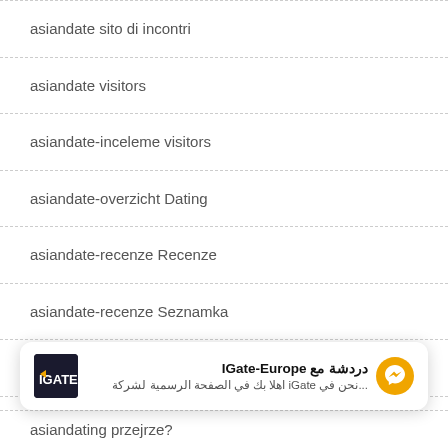asiandate sito di incontri
asiandate visitors
asiandate-inceleme visitors
asiandate-overzicht Dating
asiandate-recenze Recenze
asiandate-recenze Seznamka
asiandating gratuit
asiandating pc
[Figure (screenshot): IGate-Europe chat widget showing Arabic text: 'دردشة مع IGate-Europe' and subtitle '...نحن في iGate اهلا بك في الصفحة الرسمية لشركة' with messenger icon]
asiandating przejrze?